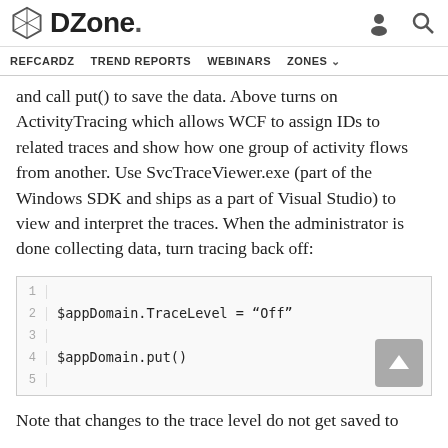DZone. REFCARDZ  TREND REPORTS  WEBINARS  ZONES
and call put() to save the data. Above turns on ActivityTracing which allows WCF to assign IDs to related traces and show how one group of activity flows from another. Use SvcTraceViewer.exe (part of the Windows SDK and ships as a part of Visual Studio) to view and interpret the traces. When the administrator is done collecting data, turn tracing back off:
[Figure (screenshot): Code block with line numbers showing: line 1 (empty), line 2: $appDomain.TraceLevel = "Off", line 3 (empty), line 4: $appDomain.put(), line 5 (empty). A scroll-to-top button appears at bottom right.]
Note that changes to the trace level do not get saved to